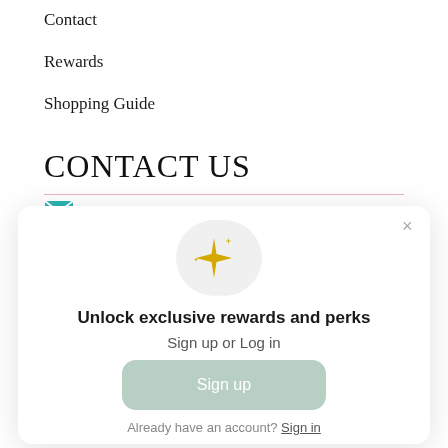Contact
Rewards
Shopping Guide
CONTACT US
[Figure (screenshot): A modal popup with sparkle icon, heading 'Unlock exclusive rewards and perks', Sign up or Log in text, Sign up button, and 'Already have an account? Sign in' link]
Unlock exclusive rewards and perks
Sign up or Log in
Sign up
Already have an account? Sign in